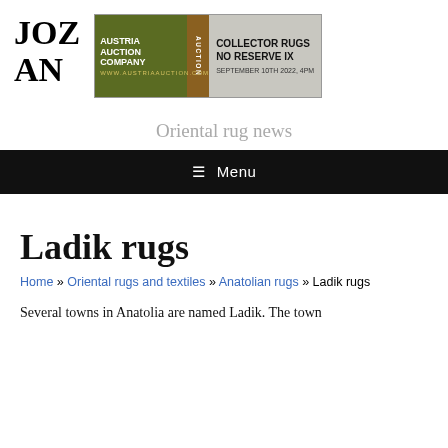JOZ AN
[Figure (other): Austria Auction Company banner ad: COLLECTOR RUGS NO RESERVE IX SEPTEMBER 10TH 2022, 4PM]
Oriental rug news
≡ Menu
Ladik rugs
Home » Oriental rugs and textiles » Anatolian rugs » Ladik rugs
Several towns in Anatolia are named Ladik. The town